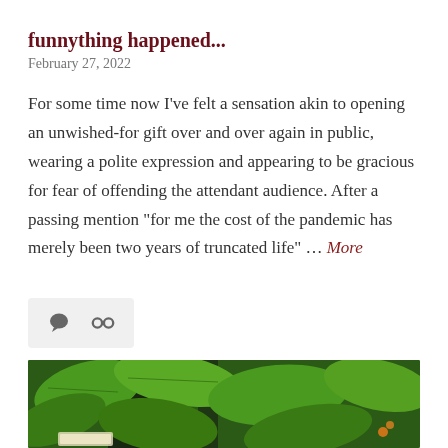funnything happened...
February 27, 2022
For some time now I've felt a sensation akin to opening an unwished-for gift over and over again in public, wearing a polite expression and appearing to be gracious for fear of offending the attendant audience. After a passing mention "for me the cost of the pandemic has merely been two years of truncated life" … More
[Figure (photo): Photo of green leafy plants, partially visible, cropped at bottom of page]
[Figure (infographic): Comment and link icons in a light grey rounded rectangle social meta bar]